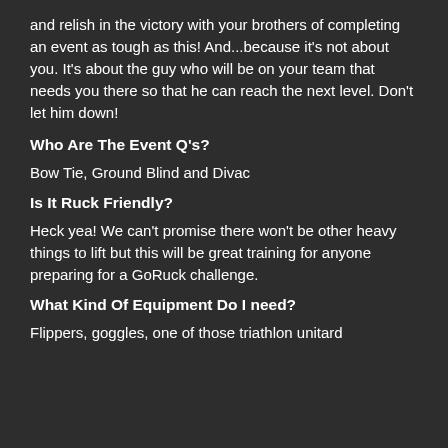and relish in the victory with your brothers of completing an event as tough as this!  And...because it's not about you.  It's about the guy who will be on your team that needs you there so that he can reach the next level.  Don't let him down!
Who Are The Event Q's?
Bow Tie, Ground Blind and Divac
Is It Ruck Friendly?
Heck yea!  We can't promise there won't be other heavy things to lift but this will be great training for anyone preparing for a GoRuck challenge.
What Kind Of Equipment Do I need?
Flippers, goggles, one of those triathlon unitard